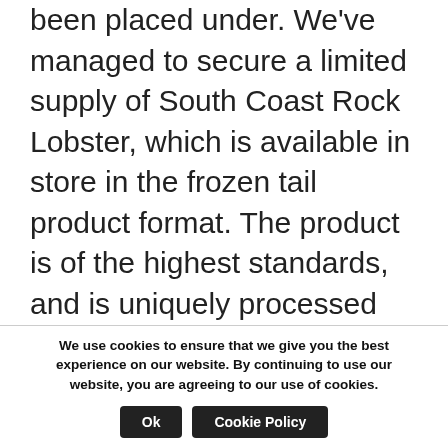been placed under. We've managed to secure a limited supply of South Coast Rock Lobster, which is available in store in the frozen tail product format. The product is of the highest standards, and is uniquely processed onboard at sea under HACCP guidelines immediately after catching, which results in a guaranteed firm texture and renowned flavour.

So pop down to our retail store and spoil yourself with a 100% ethically sourced truly
We use cookies to ensure that we give you the best experience on our website. By continuing to use our website, you are agreeing to our use of cookies.